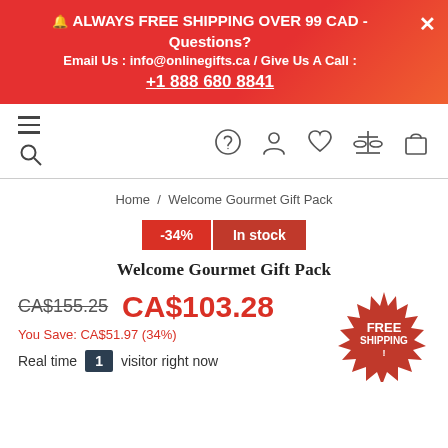🔔 ALWAYS FREE SHIPPING OVER 99 CAD - Questions? Email Us : info@onlinegifts.ca / Give Us A Call : +1 888 680 8841
[Figure (screenshot): Navigation bar with hamburger menu, search icon on left; question mark, person, heart, scale, shopping bag icons on right]
Home / Welcome Gourmet Gift Pack
-34%  In stock
Welcome Gourmet Gift Pack
CA$155.25  CA$103.28
You Save: CA$51.97 (34%)
Real time  1  visitor right now
[Figure (illustration): Red starburst badge with text FREE SHIPPING!]